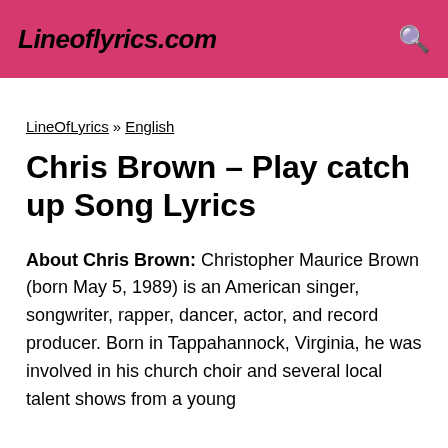Lineoflyrics.com
LineOfLyrics » English
Chris Brown – Play catch up Song Lyrics
About Chris Brown: Christopher Maurice Brown (born May 5, 1989) is an American singer, songwriter, rapper, dancer, actor, and record producer. Born in Tappahannock, Virginia, he was involved in his church choir and several local talent shows from a young